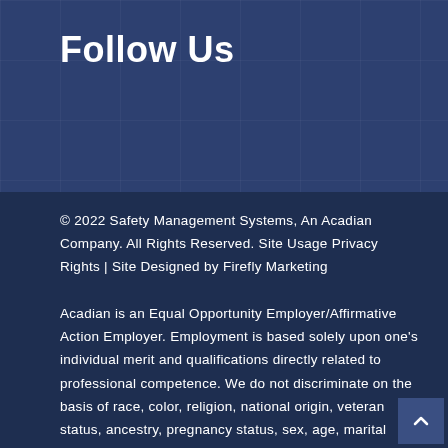Follow Us
© 2022 Safety Management Systems, An Acadian Company. All Rights Reserved. Site Usage Privacy Rights | Site Designed by Firefly Marketing
Acadian is an Equal Opportunity Employer/Affirmative Action Employer. Employment is based solely upon one's individual merit and qualifications directly related to professional competence. We do not discriminate on the basis of race, color, religion, national origin, veteran status, ancestry, pregnancy status, sex, age, marital status, disability, medical condition, sexual orientation, gender